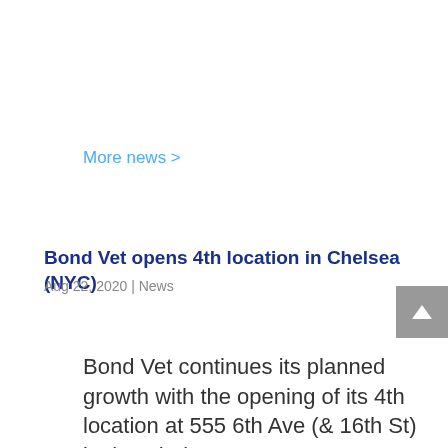More news >
Bond Vet opens 4th location in Chelsea (NYC)
Aug 22, 2020 | News
Bond Vet continues its planned growth with the opening of its 4th location at 555 6th Ave (& 16th St) in the Chelsea…